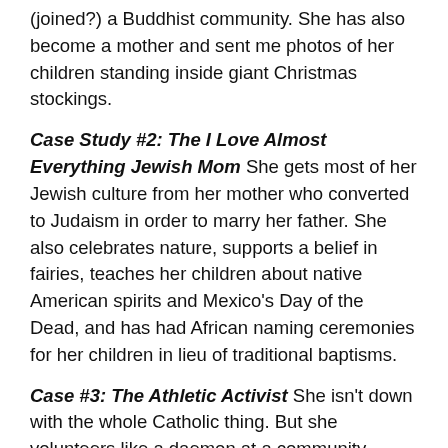(joined?) a Buddhist community. She has also become a mother and sent me photos of her children standing inside giant Christmas stockings.
Case Study #2: The I Love Almost Everything Jewish Mom She gets most of her Jewish culture from her mother who converted to Judaism in order to marry her father. She also celebrates nature, supports a belief in fairies, teaches her children about native American spirits and Mexico's Day of the Dead, and has had African naming ceremonies for her children in lieu of traditional baptisms.
Case #3: The Athletic Activist She isn't down with the whole Catholic thing. But she volunteers like a daemon at a community center. And I venture to say that there are only eight weeks (or less) of the year when she is not playing a sport with some of the coolest women out there.